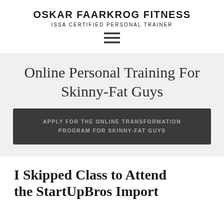OSKAR FAARKROG FITNESS
ISSA CERTIFIED PERSONAL TRAINER
Online Personal Training For Skinny-Fat Guys
APPLY FOR THE ONLINE TRANSFORMATION PROGRAM FOR SKINNY-FAT GUYS
I Skipped Class to Attend the StartUpBros Import